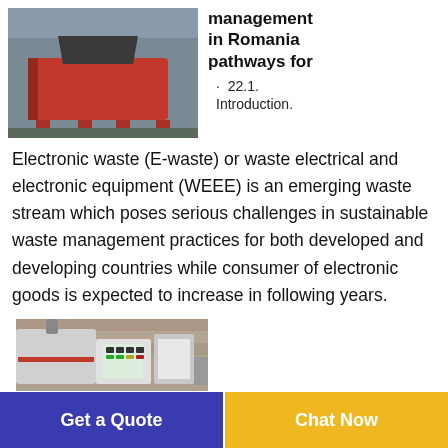[Figure (photo): A red industrial shredder/crusher machine outdoors in an industrial yard.]
management in Romania pathways for
· 22.1. Introduction.
Electronic waste (E-waste) or waste electrical and electronic equipment (WEEE) is an emerging waste stream which poses serious challenges in sustainable waste management practices for both developed and developing countries while consumer of electronic goods is expected to increase in following years.
[Figure (photo): An industrial e-waste processing/shredding machine with control panel, white and gray colored.]